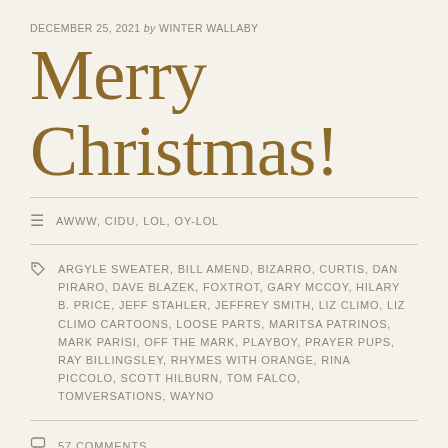DECEMBER 25, 2021 by WINTER WALLABY
Merry Christmas!
AWWW, CIDU, LOL, OY-LOL
ARGYLE SWEATER, BILL AMEND, BIZARRO, CURTIS, DAN PIRARO, DAVE BLAZEK, FOXTROT, GARY MCCOY, HILARY B. PRICE, JEFF STAHLER, JEFFREY SMITH, LIZ CLIMO, LIZ CLIMO CARTOONS, LOOSE PARTS, MARITSA PATRINOS, MARK PARISI, OFF THE MARK, PLAYBOY, PRAYER PUPS, RAY BILLINGSLEY, RHYMES WITH ORANGE, RINA PICCOLO, SCOTT HILBURN, TOM FALCO, TOMVERSATIONS, WAYNO
57 COMMENTS